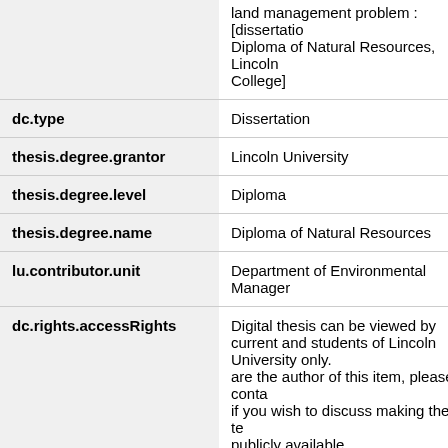| Field | Value |
| --- | --- |
|  | land management problem : [dissertation] Diploma of Natural Resources, Lincoln College] |
| dc.type | Dissertation |
| thesis.degree.grantor | Lincoln University |
| thesis.degree.level | Diploma |
| thesis.degree.name | Diploma of Natural Resources |
| lu.contributor.unit | Department of Environmental Management |
| dc.rights.accessRights | Digital thesis can be viewed by current and students of Lincoln University only. are the author of this item, please conta if you wish to discuss making the full te publicly available. |
| dc.subject.anzsrc | 05 Environmental Sciences |
| dc.subject.anzsrc | 050205 Environmental Management |